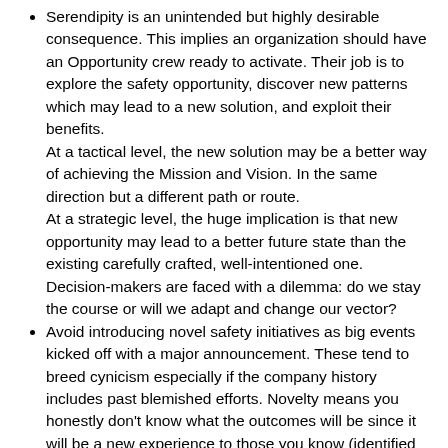Serendipity is an unintended but highly desirable consequence. This implies an organization should have an Opportunity crew ready to activate. Their job is to explore the safety opportunity, discover new patterns which may lead to a new solution, and exploit their benefits. At a tactical level, the new solution may be a better way of achieving the Mission and Vision. In the same direction but a different path or route. At a strategic level, the huge implication is that new opportunity may lead to a better future state than the existing carefully crafted, well-intentioned one. Decision-makers are faced with a dilemma: do we stay the course or will we adapt and change our vector?
Avoid introducing novel safety initiatives as big events kicked off with a major announcement. These tend to breed cynicism especially if the company history includes past blemished efforts. Novelty means you honestly don't know what the outcomes will be since it will be a new experience to those you know (identified stakeholders) and those you